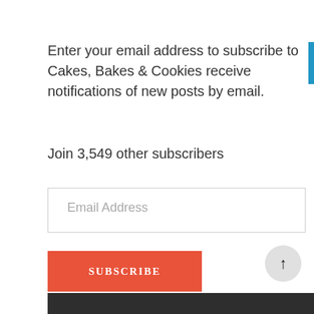Enter your email address to subscribe to Cakes, Bakes & Cookies receive notifications of new posts by email.
Join 3,549 other subscribers
Email Address
SUBSCRIBE